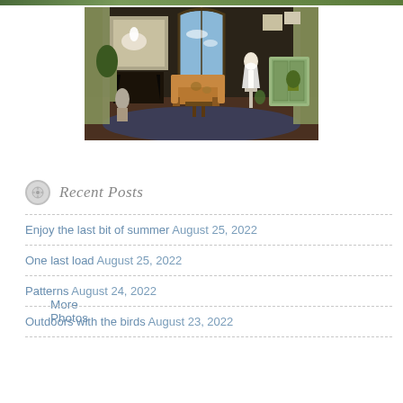[Figure (photo): Narrow green/nature strip image at the very top of the page]
[Figure (photo): Interior room scene with dark walls, fireplace, floral armchair, mannequin, arched window showing blue sky, decorative cabinet and paintings]
More Photos
Recent Posts
Enjoy the last bit of summer August 25, 2022
One last load August 25, 2022
Patterns August 24, 2022
Outdoors with the birds August 23, 2022